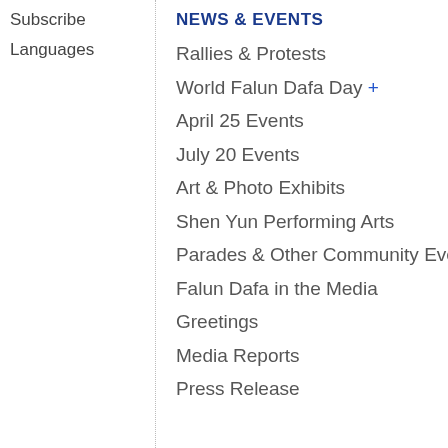Subscribe
Languages
NEWS & EVENTS
Rallies & Protests
World Falun Dafa Day +
April 25 Events
July 20 Events
Art & Photo Exhibits
Shen Yun Performing Arts
Parades & Other Community Events
Falun Dafa in the Media
Greetings
Media Reports
Press Release
Tortu…
Impris…
Accou…
Disap…
Perse…
Perpe… Perse…
Wuha…